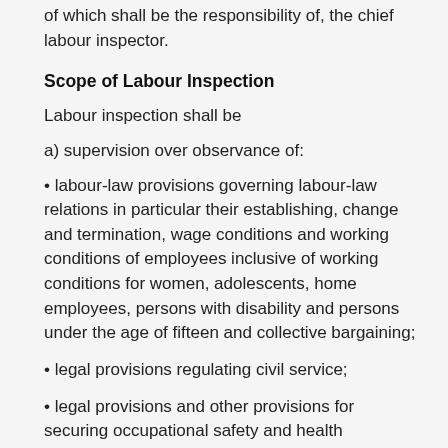of which shall be the responsibility of, the chief labour inspector.
Scope of Labour Inspection
Labour inspection shall be
a) supervision over observance of:
• labour-law provisions governing labour-law relations in particular their establishing, change and termination, wage conditions and working conditions of employees inclusive of working conditions for women, adolescents, home employees, persons with disability and persons under the age of fifteen and collective bargaining;
• legal provisions regulating civil service;
• legal provisions and other provisions for securing occupational safety and health protection, including the